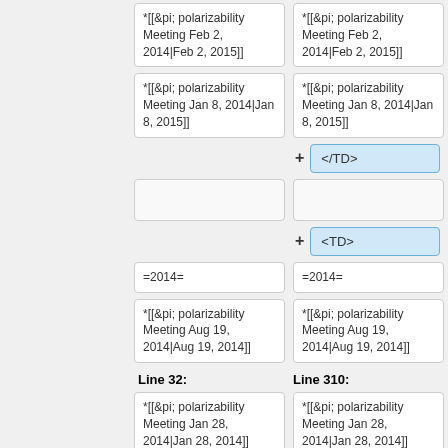*[[&pi; polarizability Meeting Feb 2, 2014|Feb 2, 2015]]
*[[&pi; polarizability Meeting Feb 2, 2014|Feb 2, 2015]]
*[[&pi; polarizability Meeting Jan 8, 2014|Jan 8, 2015]]
*[[&pi; polarizability Meeting Jan 8, 2014|Jan 8, 2015]]
</TD>
<TD>
=2014=
=2014=
*[[&pi; polarizability Meeting Aug 19, 2014|Aug 19, 2014]]
*[[&pi; polarizability Meeting Aug 19, 2014|Aug 19, 2014]]
Line 32:
Line 310:
*[[&pi; polarizability Meeting Jan 28, 2014|Jan 28, 2014]]
*[[&pi; polarizability Meeting Jan 28, 2014|Jan 28, 2014]]
*[[&pi; polarizability Meeting Jan 7, 2014|Jan 7, 2014]]
*[[&pi; polarizability Meeting Jan 7, 2014|Jan 7, 2014]]